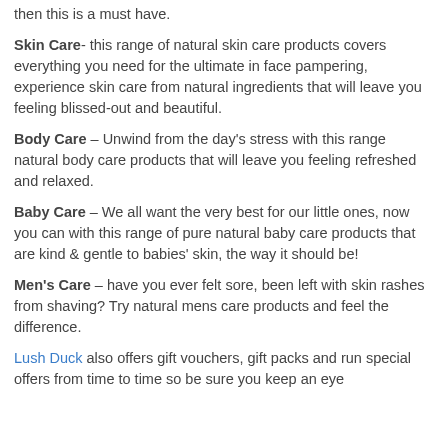then this is a must have.
Skin Care- this range of natural skin care products covers everything you need for the ultimate in face pampering, experience skin care from natural ingredients that will leave you feeling blissed-out and beautiful.
Body Care – Unwind from the day's stress with this range natural body care products that will leave you feeling refreshed and relaxed.
Baby Care – We all want the very best for our little ones, now you can with this range of pure natural baby care products that are kind & gentle to babies' skin, the way it should be!
Men's Care – have you ever felt sore, been left with skin rashes from shaving? Try natural mens care products and feel the difference.
Lush Duck also offers gift vouchers, gift packs and run special offers from time to time so be sure you keep an eye